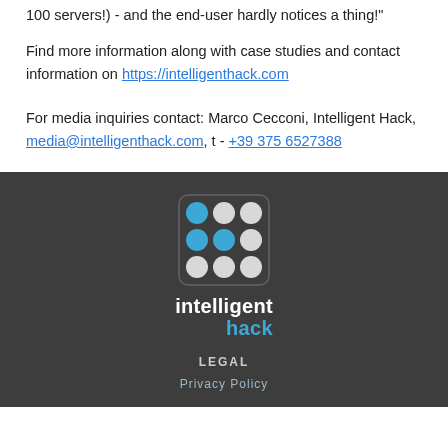100 servers!) - and the end-user hardly notices a thing!"
Find more information along with case studies and contact information on https://intelligenthack.com
For media inquiries contact: Marco Cecconi, Intelligent Hack, media@intelligenthack.com, t - +39 375 6527388
[Figure (logo): Intelligent Hack logo: a dark rounded square with a 3x3 grid of circles (mix of blue and white/grey dots), with the wordmark 'intelligent hack' below in white and blue text]
LEGAL
Privacy Policy